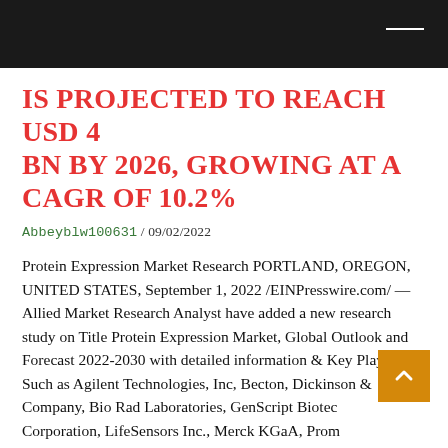IS PROJECTED TO REACH USD 4 BN BY 2026, GROWING AT A CAGR OF 10.2%
Abbeyblw100631 / 09/02/2022
Protein Expression Market Research PORTLAND, OREGON, UNITED STATES, September 1, 2022 /EINPresswire.com/ — Allied Market Research Analyst have added a new research study on Title Protein Expression Market, Global Outlook and Forecast 2022-2030 with detailed information & Key Players Such as Agilent Technologies, Inc, Becton, Dickinson & Company, Bio Rad Laboratories, GenScript Biotech Corporation, LifeSensors Inc., Merck KGaA, Promega Corporation,...